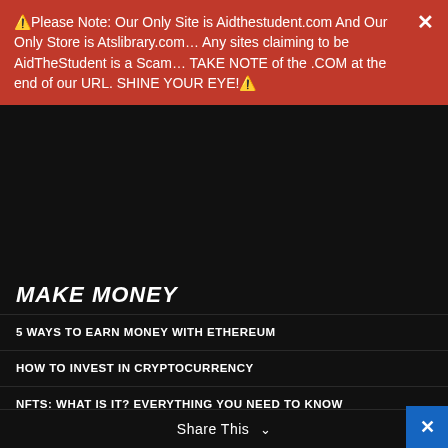⚠️Please Note: Our Only Site is Aidthestudent.com And Our Only Store is Atslibrary.com... Any sites claiming to be AidTheStudent is a Scam... TAKE NOTE of the .COM at the end of our URL. SHINE YOUR EYE!⚠️
MAKE MONEY
5 WAYS TO EARN MONEY WITH ETHEREUM
HOW TO INVEST IN CRYPTOCURRENCY
NFTS: WHAT IS IT? EVERYTHING YOU NEED TO KNOW
UNDERSTANDING THE BLOCKCHAIN: A BEGINNER'S PERSPECTIVE
35 WAYS FOR STUDENTS TO MAKE MONEY IN 2022
SAVE MONEY
7 CUTE THINGS THAT HAPPEN WHEN YOU GET COMFORTABLE IN A RELATIONSHIP
ORDERING MORE FOOD THAN YOUR DATE AND OTHER DINNER DATE MISTAKES WOMEN MAKE
Share This